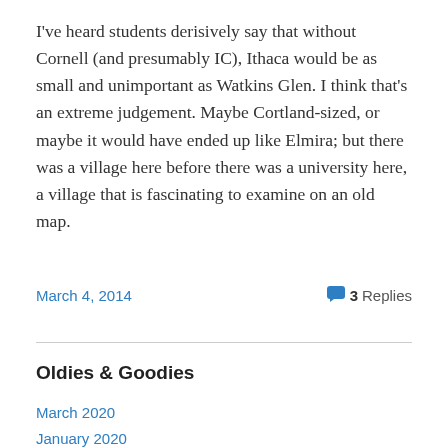I've heard students derisively say that without Cornell (and presumably IC), Ithaca would be as small and unimportant as Watkins Glen. I think that's an extreme judgement. Maybe Cortland-sized, or maybe it would have ended up like Elmira; but there was a village here before there was a university here, a village that is fascinating to examine on an old map.
March 4, 2014    3 Replies
Oldies & Goodies
March 2020
January 2020
December 2019
November 2019